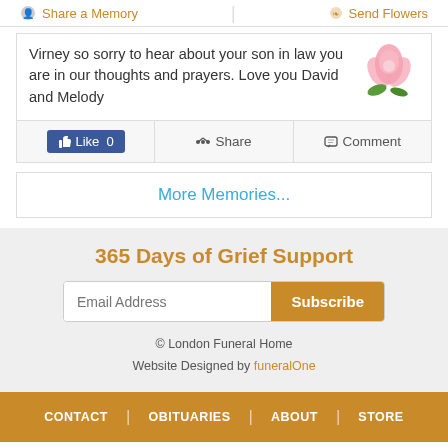Share a Memory | Send Flowers
Virney so sorry to hear about your son in law you are in our thoughts and prayers. Love you David and Melody
Like 0 | Share | Comment
More Memories...
365 Days of Grief Support
Email Address | Subscribe
© London Funeral Home
Website Designed by funeralOne
CONTACT | OBITUARIES | ABOUT | STORE